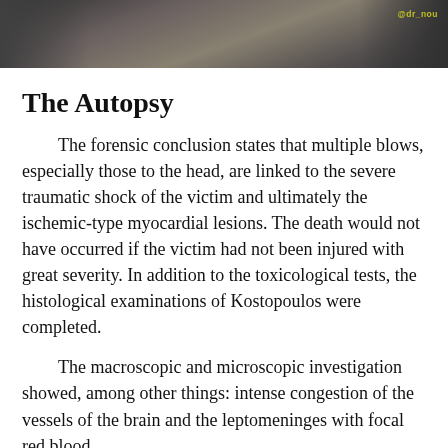[Figure (photo): Photograph strip at top of page showing people, partially cropped, with a small yellow text label in the upper right corner.]
The Autopsy
The forensic conclusion states that multiple blows, especially those to the head, are linked to the severe traumatic shock of the victim and ultimately the ischemic-type myocardial lesions. The death would not have occurred if the victim had not been injured with great severity. In addition to the toxicological tests, the histological examinations of Kostopoulos were completed.
The macroscopic and microscopic investigation showed, among other things: intense congestion of the vessels of the brain and the leptomeninges with focal red blood